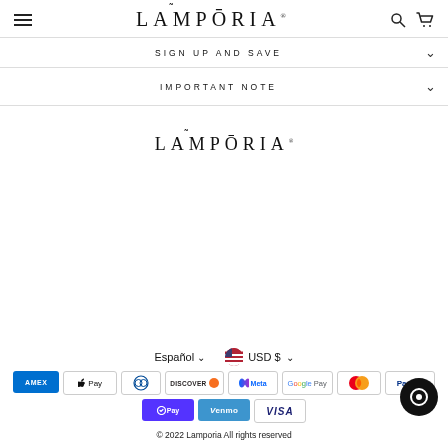LAMPORIA
SIGN UP AND SAVE
IMPORTANT NOTE
[Figure (logo): Lamporia brand logo centered on page]
Español  USD $
[Figure (infographic): Payment method icons: AMEX, Apple Pay, Diners, Discover, Meta, Google Pay, Mastercard, PayPal, Shop Pay, Venmo, VISA]
© 2022 Lamporia All rights reserved